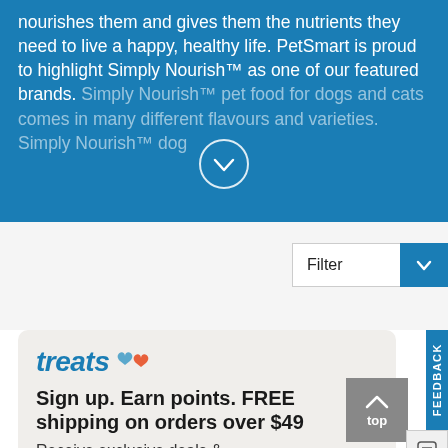nourishes them and gives them the nutrients they need to live a happy, healthy life. PetSmart is proud to highlight Simply Nourish™ as one of our featured brands. Simply Nourish™ pet food for dogs and cats comes in many different flavours and varieties. Simply Nourish™ dog
[Figure (other): Circular chevron/down-arrow button on blue background]
[Figure (other): Filter dropdown button with blue chevron icon on right side]
treats
Sign up. Earn points. FREE shipping on orders over $49
Receive exclusive deals & offers while earning points.